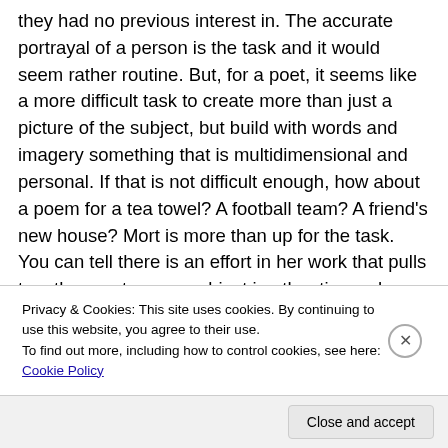they had no previous interest in. The accurate portrayal of a person is the task and it would seem rather routine. But, for a poet, it seems like a more difficult task to create more than just a picture of the subject, but build with words and imagery something that is multidimensional and personal. If that is not difficult enough, how about a poem for a tea towel? A football team? A friend's new house? Mort is more than up for the task. You can tell there is an effort in her work that pulls together poetry on a subject in other times she would not be writing about. One thing I greatly
Privacy & Cookies: This site uses cookies. By continuing to use this website, you agree to their use.
To find out more, including how to control cookies, see here: Cookie Policy
Close and accept